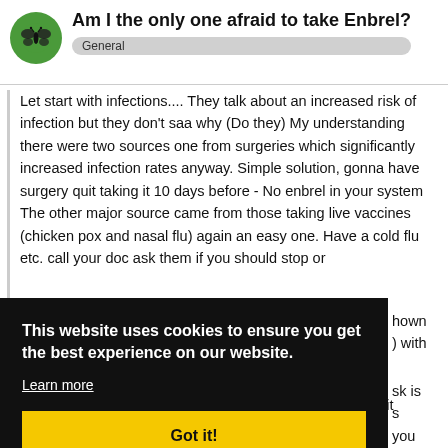Am I the only one afraid to take Enbrel?
General
Let start with infections.... They talk about an increased risk of infection but they don't saa why (Do they) My understanding there were two sources one from surgeries which significantly increased infection rates anyway. Simple solution, gonna have surgery quit taking it 10 days before - No enbrel in your system The other major source came from those taking live vaccines (chicken pox and nasal flu) again an easy one. Have a cold flu etc. call your doc ask them if you should stop or ...hown ...0 with ...sk is ...s ...you ...e .
This website uses cookies to ensure you get the best experience on our website. Learn more Got it!
(unless you are the one with cancer) ... chance of getting it anyway because th